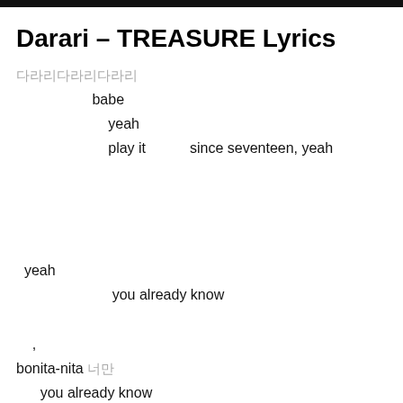Darari – TREASURE Lyrics
다라리다라리다라
                    babe
                        yeah
                        play it             since seventeen, yeah



 yeah
                         you already know

     ,
 bonita-nita 너만
       you already know

     ,
 bonita-nita 너만바라보게돼
          babe
           yeah